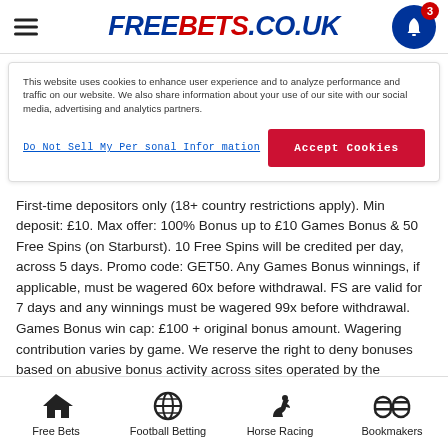FREEBETS.CO.UK
This website uses cookies to enhance user experience and to analyze performance and traffic on our website. We also share information about your use of our site with our social media, advertising and analytics partners.
Do Not Sell My Personal Information
Accept Cookies
First-time depositors only (18+ country restrictions apply). Min deposit: £10. Max offer: 100% Bonus up to £10 Games Bonus & 50 Free Spins (on Starburst). 10 Free Spins will be credited per day, across 5 days. Promo code: GET50. Any Games Bonus winnings, if applicable, must be wagered 60x before withdrawal. FS are valid for 7 days and any winnings must be wagered 99x before withdrawal. Games Bonus win cap: £100 + original bonus amount. Wagering contribution varies by game. We reserve the right to deny bonuses based on abusive bonus activity across sites operated by the Company. Deposit balance is available for withdrawal at any time (UK only). General withdrawal restrictions & full T&Cs apply. Valid until 31.12.2022
Free Bets | Football Betting | Horse Racing | Bookmakers